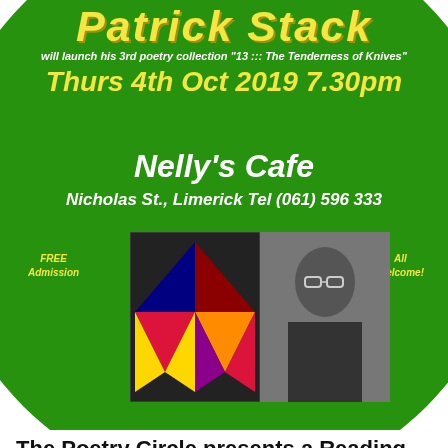[Figure (illustration): Green circular poster for a poetry event featuring Patrick Stack. Yellow bold italic text reads 'Patrick Stack'. White italic text: 'will launch his 3rd poetry collection "13 ::: The Tenderness of Knives"'. Yellow text: 'Thurs 4th Oct 2019 7.30pm'. White text: 'Nelly's Cafe' and 'Nicholas St., Limerick Tel (061) 596 333'. Smaller yellow italic labels: 'FREE Admission' on left, 'All Welcome!' on right. Two photos in the center: a book cover with colorful pattern and a man wearing glasses.]
The Poetry Circle presents a Reading and Book Launch with Patrick Stack
October 4, 2019 @ 7:30 am – 9:00 pm
We use cookies to ensure that we give you the best experience on our website. If you continue to use this site we will assume that you are happy with it.
OK